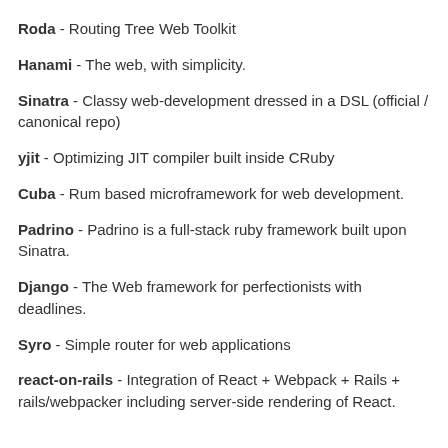Roda - Routing Tree Web Toolkit
Hanami - The web, with simplicity.
Sinatra - Classy web-development dressed in a DSL (official / canonical repo)
yjit - Optimizing JIT compiler built inside CRuby
Cuba - Rum based microframework for web development.
Padrino - Padrino is a full-stack ruby framework built upon Sinatra.
Django - The Web framework for perfectionists with deadlines.
Syro - Simple router for web applications
react-on-rails - Integration of React + Webpack + Rails + rails/webpacker including server-side rendering of React.